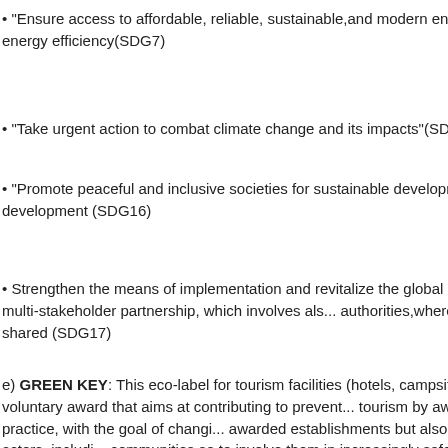• "Ensure access to affordable, reliable, sustainable,and modern energy renewable energy and energy efficiency(SDG7)
• "Take urgent action to combat climate change and its impacts"(SDG 13)
• "Promote peaceful and inclusive societies for sustainable development,... sustainable development (SDG16)
• Strengthen the means of implementation and revitalize the global partnership for development"through a multi-stakeholder partnership, which involves also local authorities,where knowledge and expertise are shared (SDG17)
e) GREEN KEY: This eco-label for tourism facilities (hotels, campsites, s... and restaurants) is a voluntary award that aims at contributing to prevent... tourism by awarding and promoting best practice, with the goal of changi... awarded establishments but also the behaviour of tourism actors, includi... communities so to involve them in increasingly safeguarding their own en... as environmental management, water, waste and energy saving, involv...